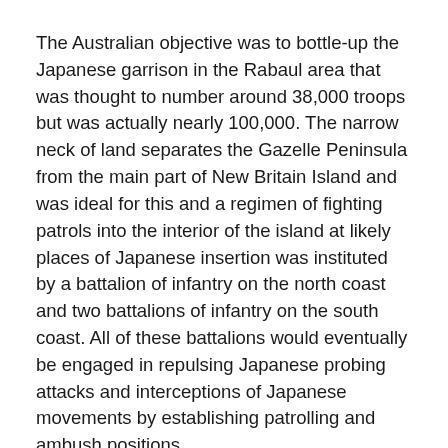The Australian objective was to bottle-up the Japanese garrison in the Rabaul area that was thought to number around 38,000 troops but was actually nearly 100,000. The narrow neck of land separates the Gazelle Peninsula from the main part of New Britain Island and was ideal for this and a regimen of fighting patrols into the interior of the island at likely places of Japanese insertion was instituted by a battalion of infantry on the north coast and two battalions of infantry on the south coast. All of these battalions would eventually be engaged in repulsing Japanese probing attacks and interceptions of Japanese movements by establishing patrolling and ambush positions.
The Connection – An American Unit in support of the 5th Australian Infantry Division, 1st Australian Army,